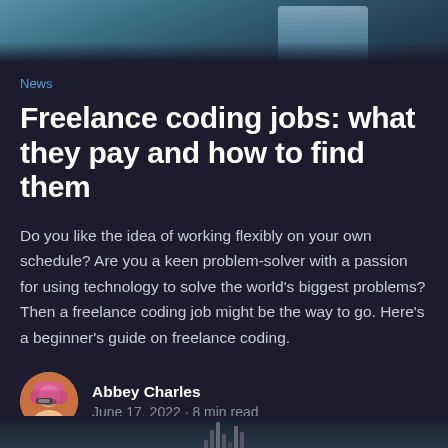[Figure (photo): Partial photo of a person at the top of the page, dark background]
News
Freelance coding jobs: what they pay and how to find them
Do you like the idea of working flexibly on your own schedule? Are you a keen problem-solver with a passion for using technology to solve the world's biggest problems? Then a freelance coding job might be the way to go. Here's a beginner's guide on freelance coding.
Abbey Charles
June 17, 2022 · 8 min read